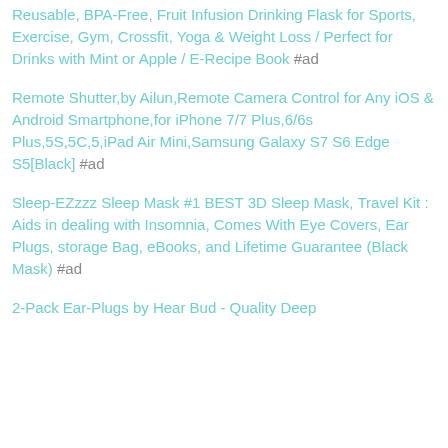Reusable, BPA-Free, Fruit Infusion Drinking Flask for Sports, Exercise, Gym, Crossfit, Yoga & Weight Loss / Perfect for Drinks with Mint or Apple / E-Recipe Book #ad
Remote Shutter,by Ailun,Remote Camera Control for Any iOS & Android Smartphone,for iPhone 7/7 Plus,6/6s Plus,5S,5C,5,iPad Air Mini,Samsung Galaxy S7 S6 Edge S5[Black] #ad
Sleep-EZzzz Sleep Mask #1 BEST 3D Sleep Mask, Travel Kit : Aids in dealing with Insomnia, Comes With Eye Covers, Ear Plugs, storage Bag, eBooks, and Lifetime Guarantee (Black Mask) #ad
2-Pack Ear-Plugs by Hear Bud - Quality Deep